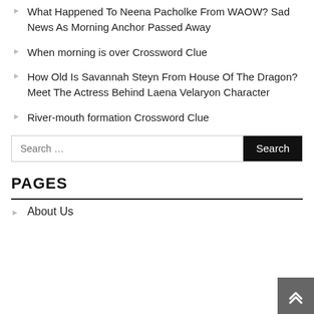What Happened To Neena Pacholke From WAOW? Sad News As Morning Anchor Passed Away
When morning is over Crossword Clue
How Old Is Savannah Steyn From House Of The Dragon? Meet The Actress Behind Laena Velaryon Character
River-mouth formation Crossword Clue
PAGES
About Us